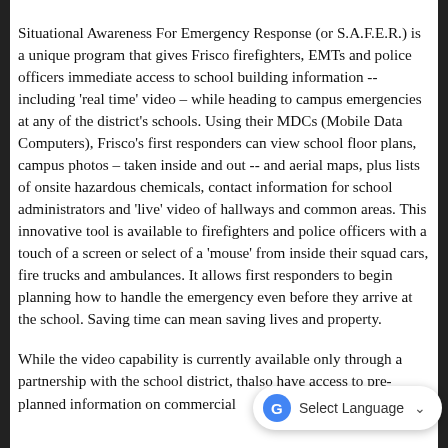Situational Awareness For Emergency Response (or S.A.F.E.R.) is a unique program that gives Frisco firefighters, EMTs and police officers immediate access to school building information -- including 'real time' video – while heading to campus emergencies at any of the district's schools. Using their MDCs (Mobile Data Computers), Frisco's first responders can view school floor plans, campus photos – taken inside and out -- and aerial maps, plus lists of onsite hazardous chemicals, contact information for school administrators and 'live' video of hallways and common areas. This innovative tool is available to firefighters and police officers with a touch of a screen or select of a 'mouse' from inside their squad cars, fire trucks and ambulances. It allows first responders to begin planning how to handle the emergency even before they arrive at the school. Saving time can mean saving lives and property.
While the video capability is currently available only through a partnership with the school district, th... also have access to pre-planned information on commercial